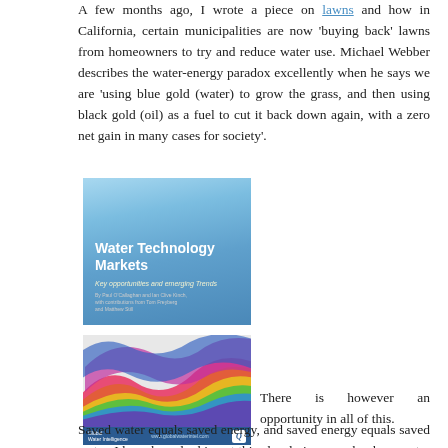A few months ago, I wrote a piece on lawns and how in California, certain municipalities are now 'buying back' lawns from homeowners to try and reduce water use. Michael Webber describes the water-energy paradox excellently when he says we are 'using blue gold (water) to grow the grass, and then using black gold (oil) as a fuel to cut it back down again, with a zero net gain in many cases for society'.
[Figure (illustration): Book cover for 'Water Technology Markets – Key opportunities and emerging trends' with blue gradient background and white text]
[Figure (illustration): Colorful rainbow wave design on grey background with Global Water Intelligence branding and Q logo at bottom]
There is however an opportunity in all of this. Saved water equals saved energy, and saved energy equals saved water. I have been looking at this closely in a new book on water technologies, "Water Technology Markets – key opportunities and emerging trends". I looked at a range